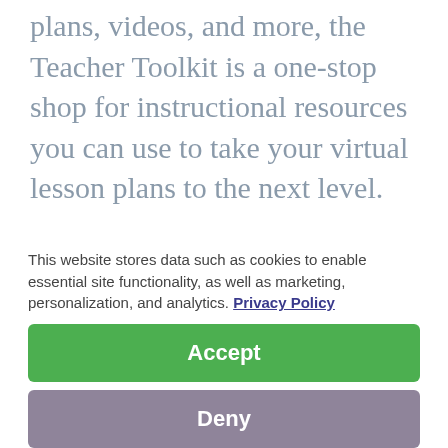plans, videos, and more, the Teacher Toolkit is a one-stop shop for instructional resources you can use to take your virtual lesson plans to the next level.
Printable Worksheets: Whether your students do not have access to technology at home, or you just
This website stores data such as cookies to enable essential site functionality, as well as marketing, personalization, and analytics. Privacy Policy
Accept
Deny